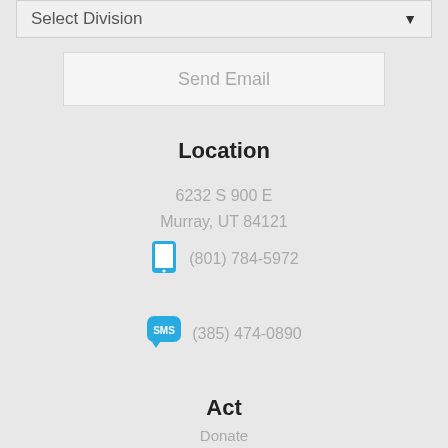Select Division ▼
Send Email
Location
6232 S 900 E
Murray, UT 84121
(801) 784-5972
(385) 474-0890
Act
Donate
Blog